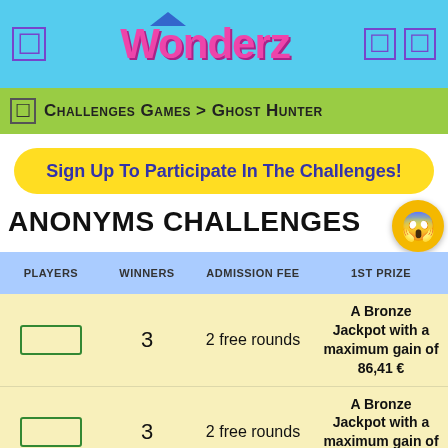Wonderz
Challenges Games > Ghost Hunter
Sign Up To Participate In The Challenges!
ANONYMS CHALLENGES
| PLAYERS | WINNERS | ADMISSION FEE | 1ST PRIZE |
| --- | --- | --- | --- |
| [box] | 3 | 2 free rounds | A Bronze Jackpot with a maximum gain of 86,41 € |
| [box] | 3 | 2 free rounds | A Bronze Jackpot with a maximum gain of 86,41 € |
| [box] | 3 | 2 free rounds | A Bronze Jackpot with a maximum gain of 86,41 € |
| [box] |  |  | A Bronze |